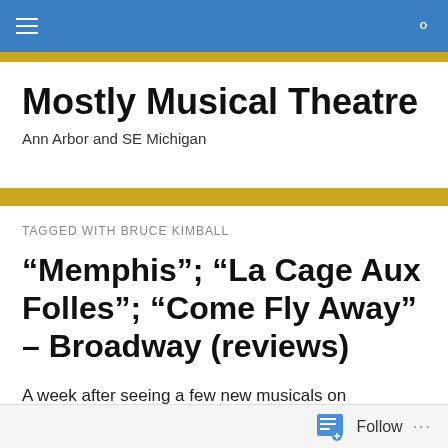Mostly Musical Theatre – navigation bar
Mostly Musical Theatre
Ann Arbor and SE Michigan
TAGGED WITH BRUCE KIMBALL
“Memphis”; “La Cage Aux Folles”; “Come Fly Away” – Broadway (reviews)
A week after seeing a few new musicals on Broadway, I’ve still been thinking about each of them, and that says a lot.
Follow